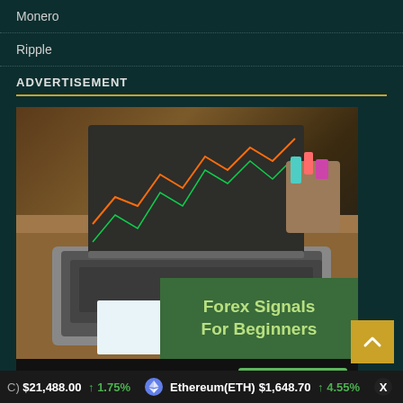Monero
Ripple
ADVERTISEMENT
[Figure (photo): Advertisement banner showing a laptop with forex trading charts on screen and a wooden desk organizer, overlaid with 'Forex Signals For Beginners' text on green background, with 'FX Jet Pack' branding and 'Start Now' button at bottom.]
C) $21,488.00 ↑ 1.75%  Ethereum(ETH) $1,648.70 ↑ 4.55% X